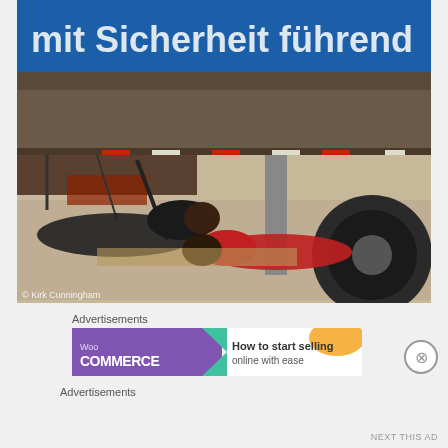[Figure (photo): Photo of two people lying on the ground under a large flatbed truck/trailer. The truck has a blue side panel with white German text 'mit Sicherheit führend'. The people are lying on cardboard on gravel. Photo credit: Kirk Cunningham.]
Advertisements
[Figure (screenshot): WooCommerce advertisement banner showing WooCommerce logo on purple background with green arrow shape, and text 'How to start selling' on white background with orange swoosh graphic.]
Advertisements
NEXT THIS AD